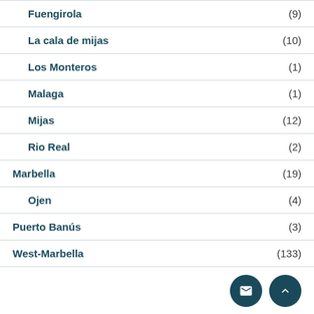Fuengirola (9)
La cala de mijas (10)
Los Monteros (1)
Malaga (1)
Mijas (12)
Rio Real (2)
Marbella (19)
Ojen (4)
Puerto Banús (3)
West-Marbella (133)